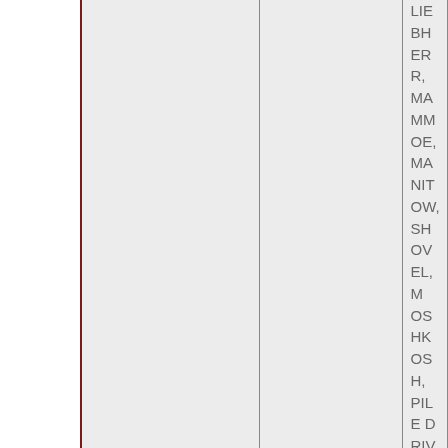|  |  |  | Keywords (truncated) |
| --- | --- | --- | --- |
|  |  |  | LIEBHERR, MAMMOE, MANITOW, SHOVEL, M, OSHKOSH, PILE DRIV, SANDVIK, SCHIMMW, TRACTOR, LOADER |
|  | Black Death |  | AFFECTED, CONTAGE, DANGERO, DEADLY, D, DISEASE, FLEAS, GE, INVECTED, PESTS, PL, PREVENT, SPECIES, TERRIFYII, UNSANITA |
|  |  |  | AFRO, AFR, ASYMMET, BANTI KI |